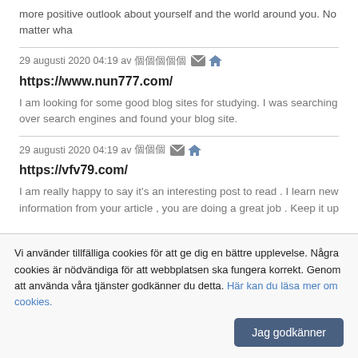more positive outlook about yourself and the world around you. No matter wha
29 augusti 2020 04:19 av [CJK chars] [email icon] [home icon]
https://www.nun777.com/
I am looking for some good blog sites for studying. I was searching over search engines and found your blog site.
29 augusti 2020 04:19 av [CJK chars] [email icon] [home icon]
https://vfv79.com/
I am really happy to say it's an interesting post to read . I learn new information from your article , you are doing a great job . Keep it up
Vi använder tillfälliga cookies för att ge dig en bättre upplevelse. Några cookies är nödvändiga för att webbplatsen ska fungera korrekt. Genom att använda våra tjänster godkänner du detta. Här kan du läsa mer om cookies.
Jag godkänner